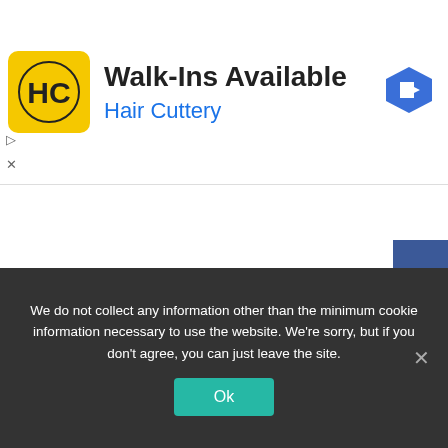[Figure (infographic): Hair Cuttery advertisement banner showing yellow HC logo, 'Walk-Ins Available' headline, 'Hair Cuttery' subtitle in blue, navigation arrow icon top right, play and close controls on left, and a collapse arrow button below]
[Figure (infographic): Social media sharing sidebar with Facebook (blue), Twitter (light blue), LinkedIn (dark blue), Pinterest (red), and Reddit (light blue) buttons each showing white icons]
We do not collect any information other than the minimum cookie information necessary to use the website. We're sorry, but if you don't agree, you can just leave the site.
Ok